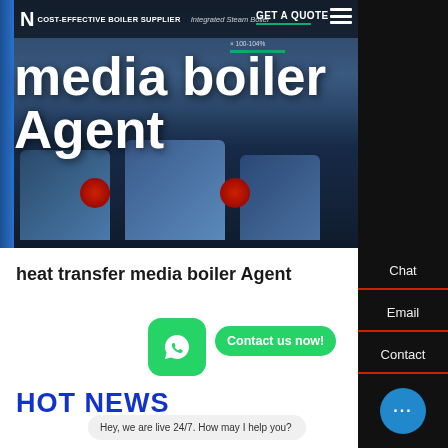N | COST-EFFECTIVE BOILER SUPPLIER | Integrated Steam Boiler
media boiler Agent
heat transfer media boiler Agent
Contact us now!
HOT NEWS
Hey, we are live 24/7. How may I help you?
electric steam boiler Agent for brewery